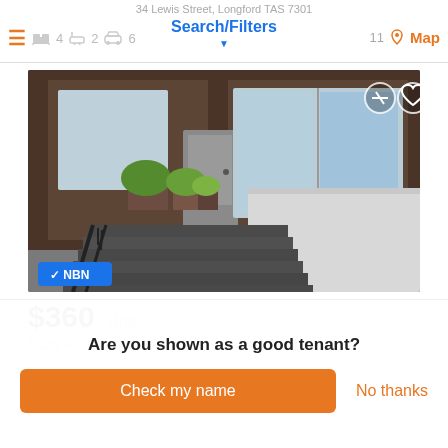34 Lewis Street, Longford TAS 7301 | Search/Filters | 4 bedrooms | 2 bathrooms | 6 car | 11 results | Map
[Figure (photo): Exterior photo of a brick building with dark steps and handrails, potted plants near the entrance, white wall on the right side. NBN badge visible at bottom left, circle-slash and heart overlay icons at top right.]
$360  Unit
5/158 A... Br... L... V... TAS 7008
Are you shown as a good tenant?
Check my name
No thanks